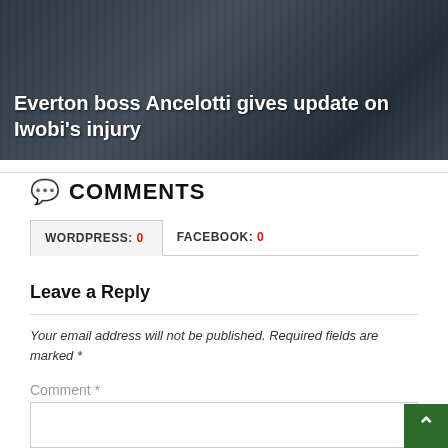[Figure (photo): Banner image of a crowd of football fans with a dark overlay, showing an article thumbnail for 'Everton boss Ancelotti gives update on Iwobi's injury']
Everton boss Ancelotti gives update on Iwobi's injury
💬 COMMENTS
WORDPRESS: 0   FACEBOOK: 0
Leave a Reply
Your email address will not be published. Required fields are marked *
Comment *